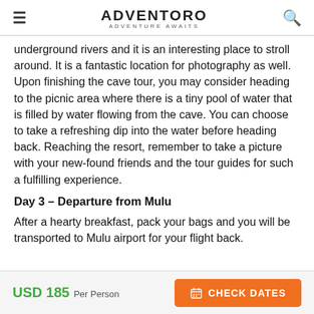ADVENTORO — ADVENTURE AWAITS
underground rivers and it is an interesting place to stroll around. It is a fantastic location for photography as well. Upon finishing the cave tour, you may consider heading to the picnic area where there is a tiny pool of water that is filled by water flowing from the cave. You can choose to take a refreshing dip into the water before heading back. Reaching the resort, remember to take a picture with your new-found friends and the tour guides for such a fulfilling experience.
Day 3 – Departure from Mulu
After a hearty breakfast, pack your bags and you will be transported to Mulu airport for your flight back.
USD 185 Per Person  CHECK DATES